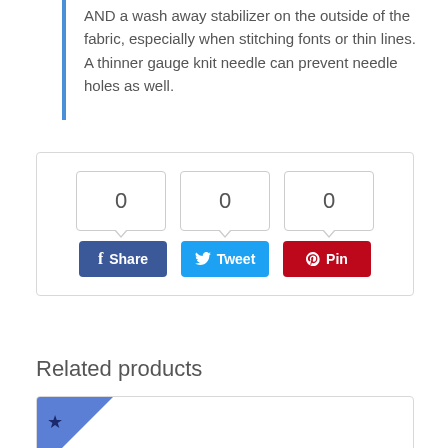AND a wash away stabilizer on the outside of the fabric, especially when stitching fonts or thin lines. A thinner gauge knit needle can prevent needle holes as well.
[Figure (other): Social share widget with Facebook Share, Twitter Tweet, and Pinterest Pin buttons, each showing a count of 0]
Related products
[Figure (photo): Product card showing embroidered Texas Tech double-T logo design in red and white, with a blue star badge in the top-left corner]